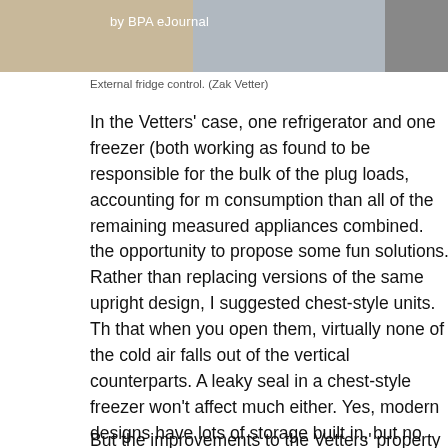[Figure (photo): Image strip at top of page showing external fridge control, with 'by BPA eJournal' text overlay on a tan/brown background section]
External fridge control. (Zak Vetter)
In the Vetters' case, one refrigerator and one freezer (both working as found to be responsible for the bulk of the plug loads, accounting for more consumption than all of the remaining measured appliances combined. the opportunity to propose some fun solutions. Rather than replacing versions of the same upright design, I suggested chest-style units. Th that when you open them, virtually none of the cold air falls out of the vertical counterparts. A leaky seal in a chest-style freezer won't affect much either. Yes, modern designs have lots of storage built in, but no compare to a single-chest unit in terms of energy efficiency. Zak took and found that chest-style refrigerators are not generally sold, but with refrigerator thermostat, he could convert a chest-style freezer into a re nature of this solution allows Zak to simply unplug the thermostat, and becomes a freezer again. Zak did not want to give up refrigerated spa saving energy. In the end, because the new units used so much less e third unit to increase his storage capacity. Think living better on less! substantial gains from the other appliances replaced, the refrigeration save more than 2,000 kWh every year. He also changed out over 500 now give better light and far longer life.
But the improvements to the Vetters' property have not been limited t